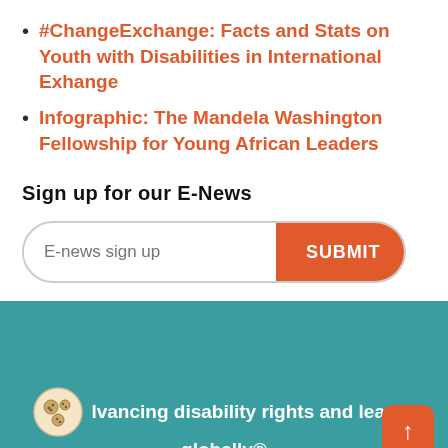#ChangeExchange: Facts and Stats on Youth with Disabilities in International Exhange
Infographic: The Mandela Washington Fellowship for Young African Leaders
Sign up for our E-News
[Figure (other): E-news sign up form with text input field and orange SUBMIT button]
Advancing disability rights and leadership globally®